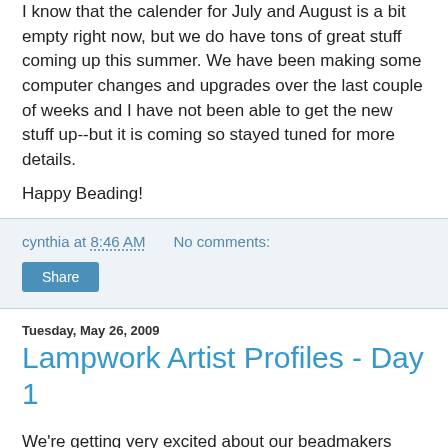I know that the calender for July and August is a bit empty right now, but we do have tons of great stuff coming up this summer. We have been making some computer changes and upgrades over the last couple of weeks and I have not been able to get the new stuff up--but it is coming so stayed tuned for more details.
Happy Beading!
cynthia at 8:46 AM   No comments:
Share
Tuesday, May 26, 2009
Lampwork Artist Profiles - Day 1
We're getting very excited about our beadmakers trunk show this weekend. If you can, join us on Saturday May 30th from 10 to 5pm for beadmaking demos, yummy edibles, and a chance to buy the most fabulous lampwork beads from